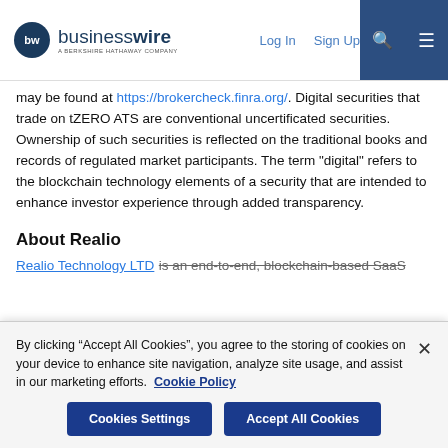businesswire - A BERKSHIRE HATHAWAY COMPANY | Log In | Sign Up
may be found at https://brokercheck.finra.org/. Digital securities that trade on tZERO ATS are conventional uncertificated securities. Ownership of such securities is reflected on the traditional books and records of regulated market participants. The term "digital" refers to the blockchain technology elements of a security that are intended to enhance investor experience through added transparency.
About Realio
Realio Technology LTD is an end-to-end, blockchain-based SaaS
By clicking “Accept All Cookies”, you agree to the storing of cookies on your device to enhance site navigation, analyze site usage, and assist in our marketing efforts. Cookie Policy
Cookies Settings | Accept All Cookies